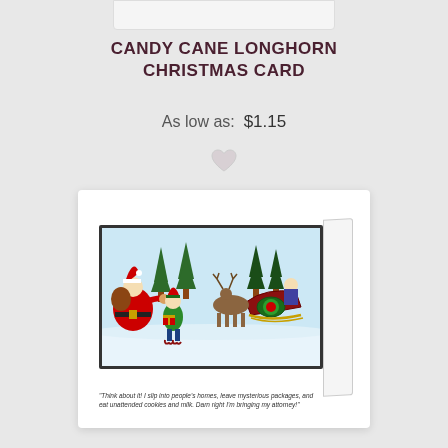CANDY CANE LONGHORN CHRISTMAS CARD
As low as:  $1.15
[Figure (illustration): Christmas card product image showing a comic illustration of Santa Claus with an elf and a reindeer pulling a sleigh, with a caption below reading: "Think about it! I slip into people's homes, leave mysterious packages, and eat unattended cookies and milk. Darn right I'm bringing my attorney!"]